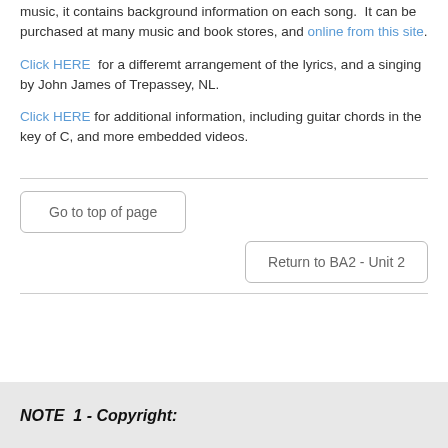music, it contains background information on each song.  It can be purchased at many music and book stores, and online from this site.
Click HERE  for a differemt arrangement of the lyrics, and a singing by John James of Trepassey, NL.
Click HERE for additional information, including guitar chords in the key of C, and more embedded videos.
Go to top of page
Return to BA2 - Unit 2
NOTE  1 - Copyright: